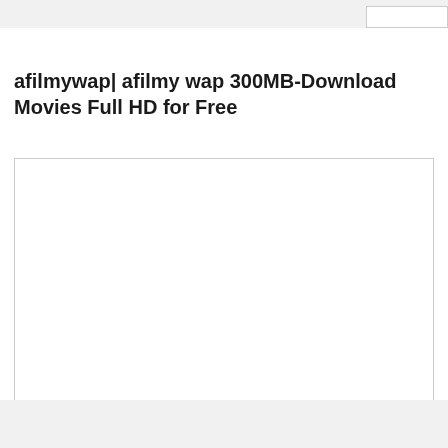afilmywap| afilmy wap 300MB-Download Movies Full HD for Free
[Figure (other): A large empty white rectangle with a thin border, representing a placeholder image or content area on the webpage.]